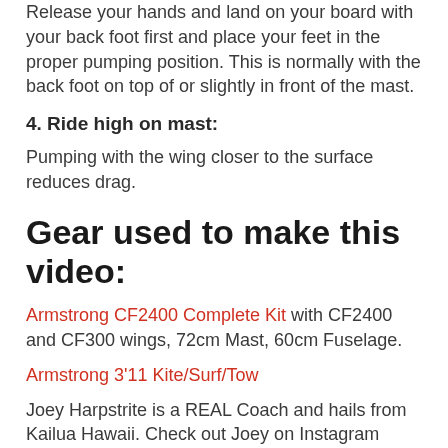Release your hands and land on your board with your back foot first and place your feet in the proper pumping position.  This is normally with the back foot on top of or slightly in front of the mast.
4. Ride high on mast:
Pumping with the wing closer to the surface reduces drag.
Gear used to make this video:
Armstrong CF2400 Complete Kit  with CF2400 and CF300 wings, 72cm Mast, 60cm Fuselage.
Armstrong 3'11 Kite/Surf/Tow
Joey Harpstrite is a REAL Coach and hails from Kailua Hawaii. Check out Joey on Instagram @no_averagejoe